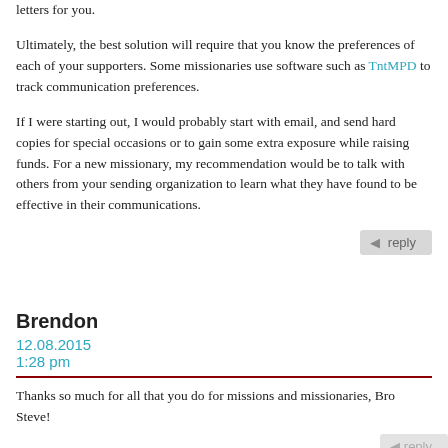letters for you.
Ultimately, the best solution will require that you know the preferences of each of your supporters. Some missionaries use software such as TntMPD to track communication preferences.
If I were starting out, I would probably start with email, and send hard copies for special occasions or to gain some extra exposure while raising funds. For a new missionary, my recommendation would be to talk with others from your sending organization to learn what they have found to be effective in their communications.
Brendon
12.08.2015
1:28 pm
Thanks so much for all that you do for missions and missionaries, Bro Steve!